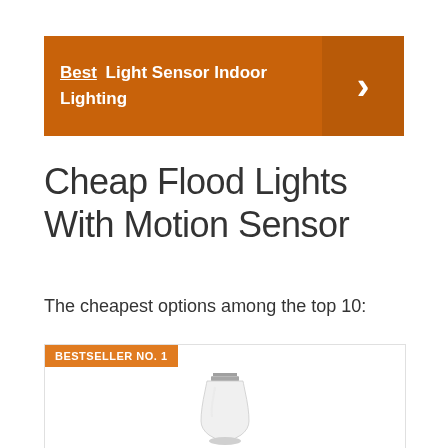Best Light Sensor Indoor Lighting
Cheap Flood Lights With Motion Sensor
The cheapest options among the top 10:
[Figure (photo): Bestseller No. 1 badge above a white LED light bulb with silver screw base on a white background]